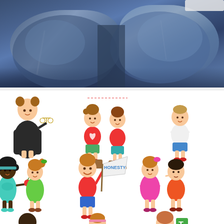[Figure (photo): Close-up photo of two people sitting together wearing denim jeans, knees visible]
[Figure (illustration): Row of cartoon children illustrations: girl in judge/lawyer robe holding scales of justice; two girls standing on podiums (one in red shirt with heart, one in red shirt); boy in white shirt with hands on chest. Second row: two girls sharing an apple (one in teal dress, one in green dress); child in red shirt holding 'HONESTY' sign; girl in pink dress and boy with pointed nose (Pinocchio-like). Third row (partial): dark-skinned child with hammer and small animal; girl with headband; curly-haired child near green letter T.]